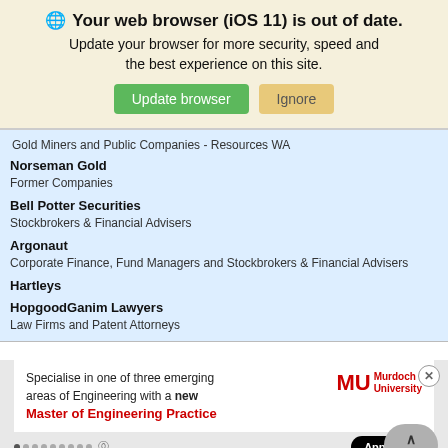🌐 Your web browser (iOS 11) is out of date. Update your browser for more security, speed and the best experience on this site.
Gold Miners and Public Companies - Resources WA
Norseman Gold
Former Companies
Bell Potter Securities
Stockbrokers & Financial Advisers
Argonaut
Corporate Finance, Fund Managers and Stockbrokers & Financial Advisers
Hartleys
HopgoodGanim Lawyers
Law Firms and Patent Attorneys
[Figure (screenshot): Murdoch University advertisement banner: Specialise in one of three emerging areas of Engineering with a new Master of Engineering Practice. Apply Now button. CRICOS Provider Code: 00125J]